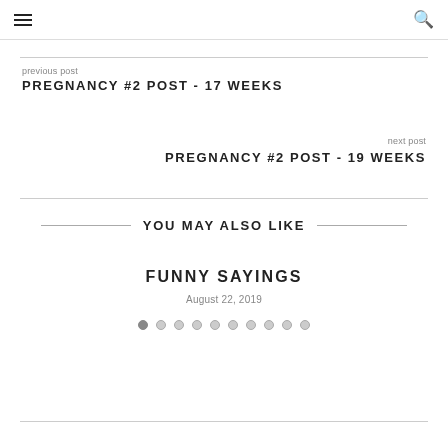≡  🔍
previous post
PREGNANCY #2 POST - 17 WEEKS
next post
PREGNANCY #2 POST - 19 WEEKS
YOU MAY ALSO LIKE
FUNNY SAYINGS
August 22, 2019